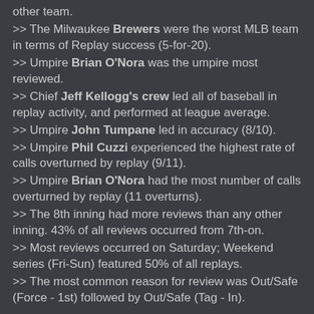other team.
>> The Milwaukee Brewers were the worst MLB team in terms of Replay success (5-for-20).
>> Umpire Brian O'Nora was the umpire most reviewed.
>> Chief Jeff Kellogg's crew led all of baseball in replay activity, and performed at league average.
>> Umpire John Tumpane led in accuracy (8/10).
>> Umpire Phil Cuzzi experienced the highest rate of calls overturned by replay (9/11).
>> Umpire Brian O'Nora had the most number of calls overturned by replay (11 overturns).
>> The 8th inning had more reviews than any other inning. 43% of all reviews occurred from 7th-on.
>> Most reviews occurred on Saturday; Weekend series (Fri-Sun) featured 50% of all replays.
>> The most common reason for review was Out/Safe (Force - 1st) followed by Out/Safe (Tag - In).
Most & Least Accurate Umpires, Replay Review (sorted by Review Affirmation Percentage [RAP]).
| Rank | Umpire | RAP | Ovrtrn | Upheld |
| --- | --- | --- | --- | --- |